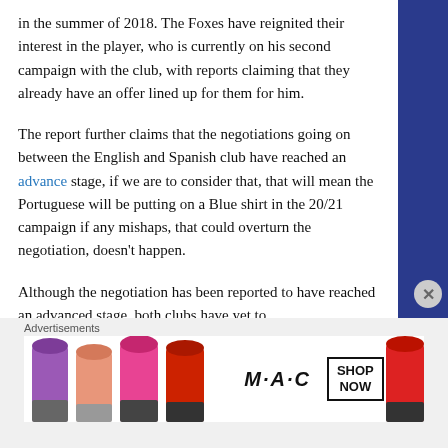in the summer of 2018. The Foxes have reignited their interest in the player, who is currently on his second campaign with the club, with reports claiming that they already have an offer lined up for them for him.
The report further claims that the negotiations going on between the English and Spanish club have reached an advance stage, if we are to consider that, that will mean the Portuguese will be putting on a Blue shirt in the 20/21 campaign if any mishaps, that could overturn the negotiation, doesn't happen.
Although the negotiation has been reported to have reached an advanced stage, both clubs have yet to
Advertisements
[Figure (illustration): MAC cosmetics advertisement showing colourful lipsticks on the left and MAC logo with SHOP NOW button on the right]